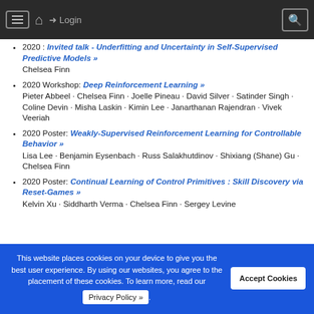≡ 🏠 Login 🔍
2020 : Invited talk - Underfitting and Uncertainty in Self-Supervised Predictive Models »
Chelsea Finn
2020 Workshop: Deep Reinforcement Learning »
Pieter Abbeel · Chelsea Finn · Joelle Pineau · David Silver · Satinder Singh · Coline Devin · Misha Laskin · Kimin Lee · Janarthanan Rajendran · Vivek Veeriah
2020 Poster: Weakly-Supervised Reinforcement Learning for Controllable Behavior »
Lisa Lee · Benjamin Eysenbach · Russ Salakhutdinov · Shixiang (Shane) Gu · Chelsea Finn
2020 Poster: Continual Learning of Control Primitives : Skill Discovery via Reset-Games »
Kelvin Xu · Siddharth Verma · Chelsea Finn · Sergey Levine
This website places cookies on your device to give you the best user experience. By using our websites, you agree to the placement of these cookies. To learn more, read our Privacy Policy ».